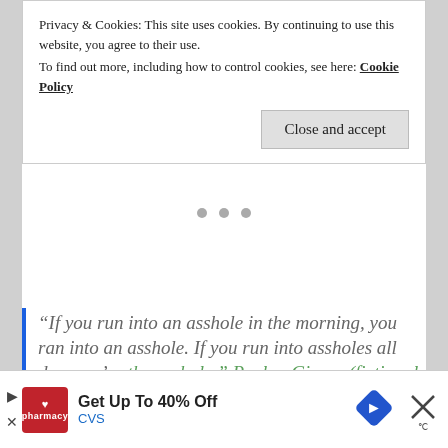Privacy & Cookies: This site uses cookies. By continuing to use this website, you agree to their use.
To find out more, including how to control cookies, see here: Cookie Policy
Close and accept
“If you run into an asshole in the morning, you ran into an asshole. If you run into assholes all day, you’re the asshole.” Raylan Givens (fictional
[Figure (screenshot): CVS pharmacy advertisement banner: Get Up To 40% Off CVS, with CVS logo, navigation arrow, and close button]